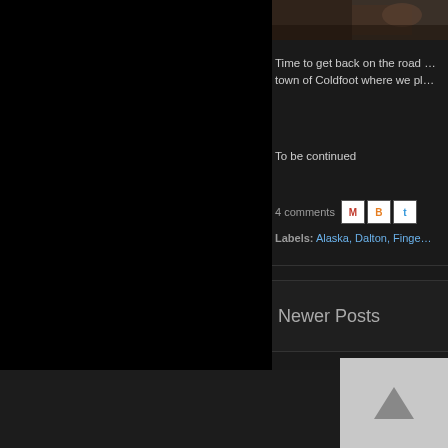[Figure (photo): Partial photo visible at top right, appears to be an outdoor/nature scene]
Time to get back on the road … town of Coldfoot where we pl…
To be continued
4 comments
Labels: Alaska, Dalton, Finge…
Newer Posts